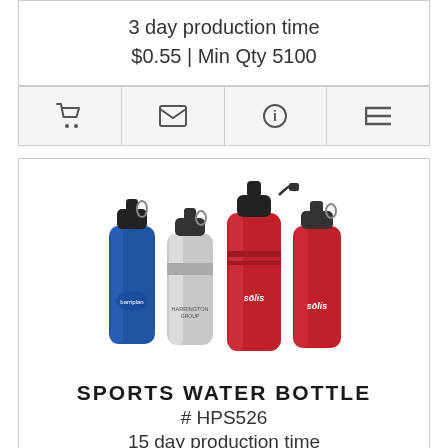3 day production time
$0.55 | Min Qty 5100
[Figure (other): Icon bar with shopping cart, envelope, info, and list icons]
[Figure (photo): Four sports water bottles in blue, silver, red, and red colors with logos printed on them]
SPORTS WATER BOTTLE
# HPS526
15 day production time
$3.27 - $6.97 | Min Qty 500